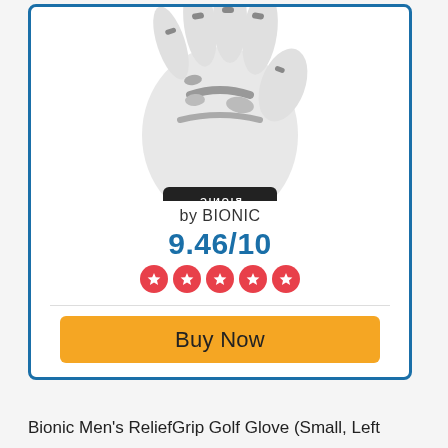[Figure (photo): A white and grey Bionic golf glove photographed from the palm side, showing the wrist strap area with BIONIC branding logo and diamond/diamond-shaped icon.]
by BIONIC
9.46/10
[Figure (other): Five red circular star rating icons in a row]
Buy Now
Bionic Men's ReliefGrip Golf Glove (Small, Left